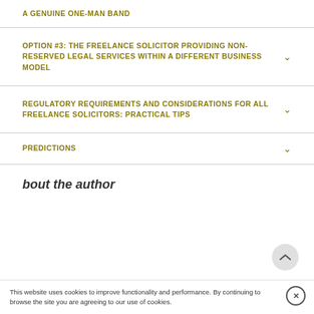A GENUINE ONE-MAN BAND
OPTION #3: THE FREELANCE SOLICITOR PROVIDING NON-RESERVED LEGAL SERVICES WITHIN A DIFFERENT BUSINESS MODEL
REGULATORY REQUIREMENTS AND CONSIDERATIONS FOR ALL FREELANCE SOLICITORS: PRACTICAL TIPS
PREDICTIONS
bout the author
This website uses cookies to improve functionality and performance. By continuing to browse the site you are agreeing to our use of cookies.